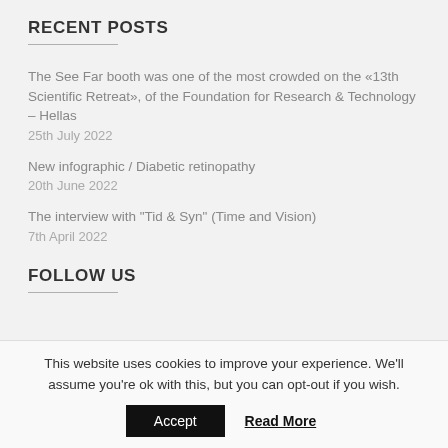RECENT POSTS
The See Far booth was one of the most crowded on the «13th Scientific Retreat», of the Foundation for Research & Technology – Hellas
25th July 2022
New infographic / Diabetic retinopathy
20th June 2022
The interview with "Tid & Syn" (Time and Vision)
7th April 2022
FOLLOW US
This website uses cookies to improve your experience. We'll assume you're ok with this, but you can opt-out if you wish.
Accept   Read More